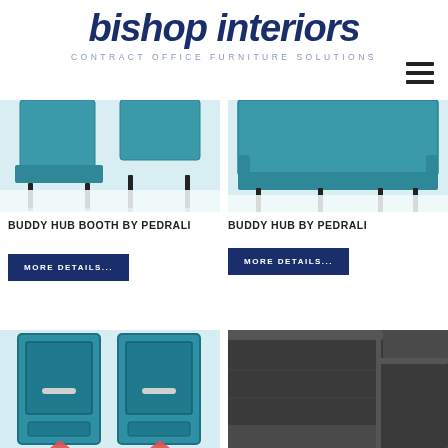[Figure (logo): Bishop Interiors logo with tagline 'CONTRACT OFFICE FURNITURE SOLUTIONS']
[Figure (photo): Teal upholstered booth seating - Buddy Hub Booth by Pedrali, cropped bottom view showing legs]
[Figure (photo): Teal upholstered seating - Buddy Hub by Pedrali, cropped bottom view showing legs]
BUDDY HUB BOOTH BY PEDRALI
MORE DETAILS...
BUDDY HUB BY PEDRALI
MORE DETAILS...
[Figure (photo): Teal booth/pod with doors - front view showing two door panels with handles, bottom cropped]
[Figure (photo): Dark charcoal/black upholstered high-back chair or sofa, cropped top-left corner view]